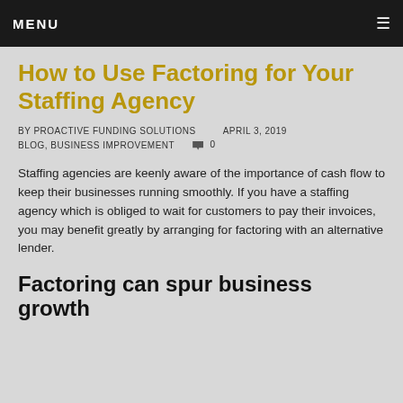MENU
How to Use Factoring for Your Staffing Agency
BY PROACTIVE FUNDING SOLUTIONS    APRIL 3, 2019
BLOG, BUSINESS IMPROVEMENT    💬 0
Staffing agencies are keenly aware of the importance of cash flow to keep their businesses running smoothly. If you have a staffing agency which is obliged to wait for customers to pay their invoices, you may benefit greatly by arranging for factoring with an alternative lender.
Factoring can spur business growth